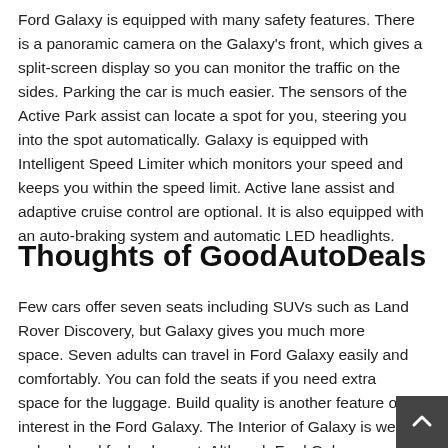Ford Galaxy is equipped with many safety features. There is a panoramic camera on the Galaxy's front, which gives a split-screen display so you can monitor the traffic on the sides. Parking the car is much easier. The sensors of the Active Park assist can locate a spot for you, steering you into the spot automatically. Galaxy is equipped with Intelligent Speed Limiter which monitors your speed and keeps you within the speed limit. Active lane assist and adaptive cruise control are optional. It is also equipped with an auto-braking system and automatic LED headlights.
Thoughts of GoodAutoDeals
Few cars offer seven seats including SUVs such as Land Rover Discovery, but Galaxy gives you much more space. Seven adults can travel in Ford Galaxy easily and comfortably. You can fold the seats if you need extra space for the luggage. Build quality is another feature of interest in the Ford Galaxy. The Interior of Galaxy is well-ordered and feels pleasant. Although Ford Gal... not one of the top MPVs out there it is very practical, affordable